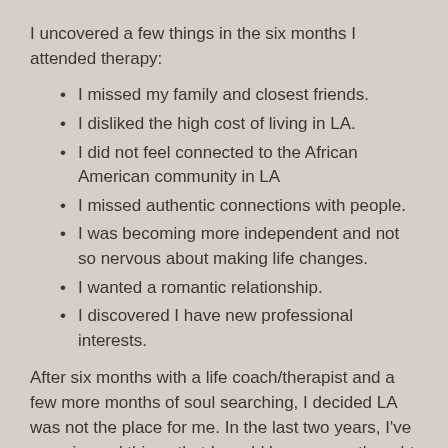I uncovered a few things in the six months I attended therapy:
I missed my family and closest friends.
I disliked the high cost of living in LA.
I did not feel connected to the African American community in LA
I missed authentic connections with people.
I was becoming more independent and not so nervous about making life changes.
I wanted a romantic relationship.
I discovered I have new professional interests.
After six months with a life coach/therapist and a few more months of soul searching, I decided LA was not the place for me. In the last two years, I've experienced things that I would have never thought about doing before my move. There are no regrets for me about my time in LA, just lessons learned. The older I get, the more I realize what's important to me and moving forward, I know I will be doing more of what's important to me with the people I love!